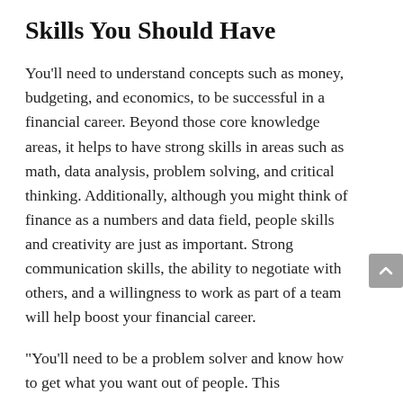Skills You Should Have
You'll need to understand concepts such as money, budgeting, and economics, to be successful in a financial career. Beyond those core knowledge areas, it helps to have strong skills in areas such as math, data analysis, problem solving, and critical thinking. Additionally, although you might think of finance as a numbers and data field, people skills and creativity are just as important. Strong communication skills, the ability to negotiate with others, and a willingness to work as part of a team will help boost your financial career.
"You'll need to be a problem solver and know how to get what you want out of people. This